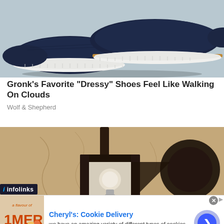[Figure (photo): Two navy blue slip-on sneakers with white soles and a tan/brown accent stripe, photographed on a light blue-grey surface]
Gronk's Favorite "Dressy" Shoes Feel Like Walking On Clouds
Wolf & Shepherd
[Figure (photo): Close-up of a dark metal outdoor wall lantern mounted on a cracked beige/sandy stucco wall]
[Figure (other): Infolinks advertisement badge overlay]
[Figure (other): Advertisement banner for Cheryl's Cookie Delivery with product image, headline, description, and CTA button]